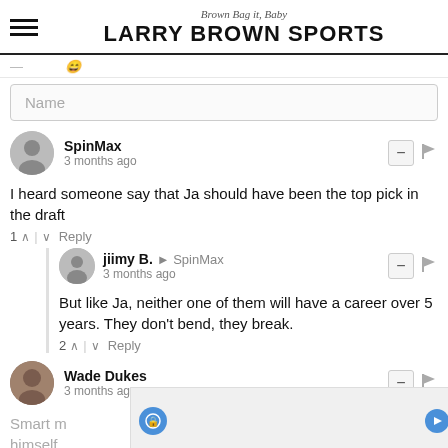Brown Bag it, Baby — LARRY BROWN SPORTS
Name
SpinMax
3 months ago
I heard someone say that Ja should have been the top pick in the draft
1 ↑ | ↓ Reply
jiimy B. → SpinMax
3 months ago
But like Ja, neither one of them will have a career over 5 years. They don't bend, they break.
2 ↑ | ↓ Reply
Wade Dukes
3 months ago
Smart m... himself... ts can